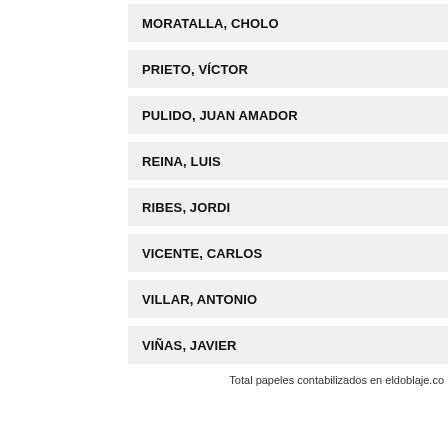MORATALLA, CHOLO
PRIETO, VÍCTOR
PULIDO, JUAN AMADOR
REINA, LUIS
RIBES, JORDI
VICENTE, CARLOS
VILLAR, ANTONIO
VIÑAS, JAVIER
Total papeles contabilizados en eldoblaje.co